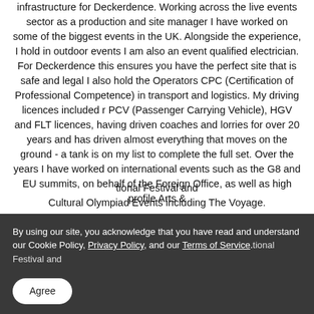infrastructure for Deckerdence. Working across the live events sector as a production and site manager I have worked on some of the biggest events in the UK. Alongside the experience, I hold in outdoor events I am also an event qualified electrician. For Deckerdence this ensures you have the perfect site that is safe and legal I also hold the Operators CPC (Certification of Professional Competence) in transport and logistics. My driving licences included r PCV (Passenger Carrying Vehicle), HGV and FLT licences, having driven coaches and lorries for over 20 years and has driven almost everything that moves on the ground - a tank is on my list to complete the full set. Over the years I have worked on international events such as the G8 and EU summits, on behalf of the Foreign Office, as well as high profile Arts &
By using our site, you acknowledge that you have read and understand our Cookie Policy, Privacy Policy, and our Terms of Service.
tional Festival and Cultural Olympiad Events including The Voyage.
Agree